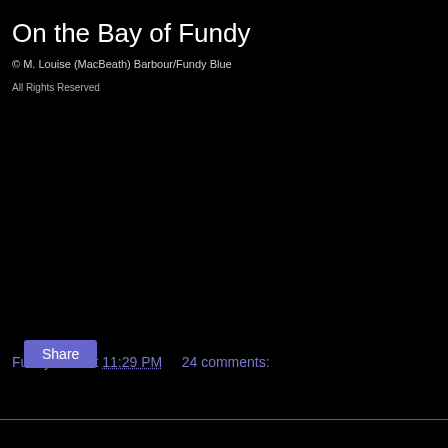On the Bay of Fundy
© M. Louise (MacBeath) Barbour/Fundy Blue
All Rights Reserved
Fundy Blue at 11:29 PM     24 comments:
Share